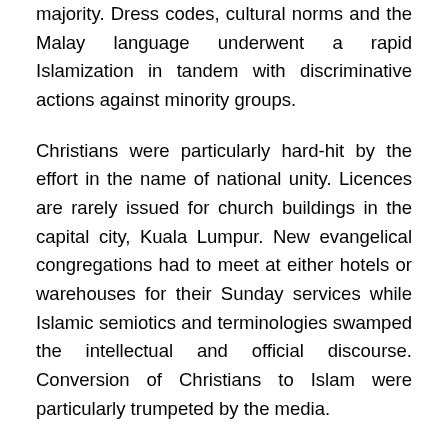majority. Dress codes, cultural norms and the Malay language underwent a rapid Islamization in tandem with discriminative actions against minority groups.
Christians were particularly hard-hit by the effort in the name of national unity. Licences are rarely issued for church buildings in the capital city, Kuala Lumpur. New evangelical congregations had to meet at either hotels or warehouses for their Sunday services while Islamic semiotics and terminologies swamped the intellectual and official discourse. Conversion of Christians to Islam were particularly trumpeted by the media.
These efforts have largely failed. Local churches continued to grow, and the number of secret Muslim converts to Christianity began to rise.
At the same time, pandemic, corruption and political